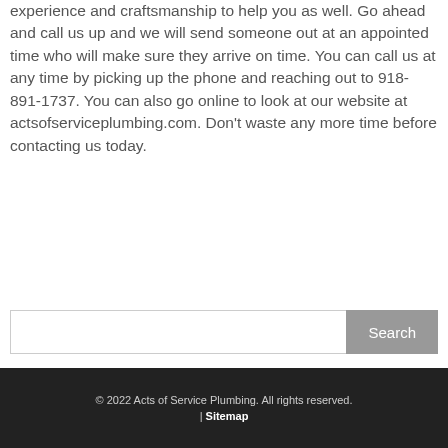experience and craftsmanship to help you as well. Go ahead and call us up and we will send someone out at an appointed time who will make sure they arrive on time. You can call us at any time by picking up the phone and reaching out to 918-891-1737. You can also go online to look at our website at actsofserviceplumbing.com. Don't waste any more time before contacting us today.
Search
© 2022 Acts of Service Plumbing. All rights reserved. | Sitemap